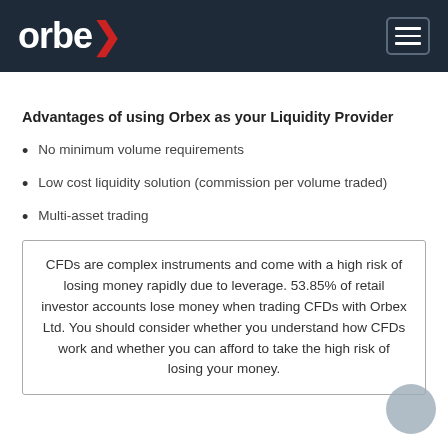orbex
Advantages of using Orbex as your Liquidity Provider
No minimum volume requirements
Low cost liquidity solution (commission per volume traded)
Multi-asset trading
CFDs are complex instruments and come with a high risk of losing money rapidly due to leverage. 53.85% of retail investor accounts lose money when trading CFDs with Orbex Ltd. You should consider whether you understand how CFDs work and whether you can afford to take the high risk of losing your money.